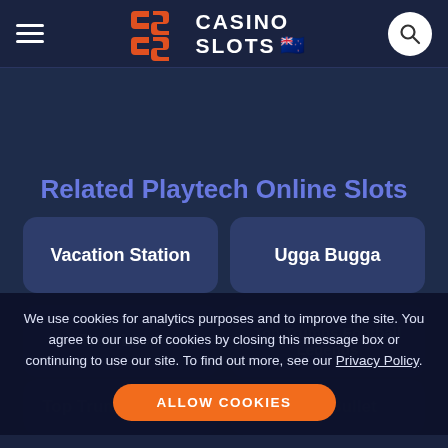Casino Slots NZ - Header navigation with logo and search
Related Playtech Online Slots
Vacation Station
Ugga Bugga
True Love
Top Trumps Football Legends
We use cookies for analytics purposes and to improve the site. You agree to our use of cookies by closing this message box or continuing to use our site. To find out more, see our Privacy Policy.
Top Trumps Celebs
Silver Bullet